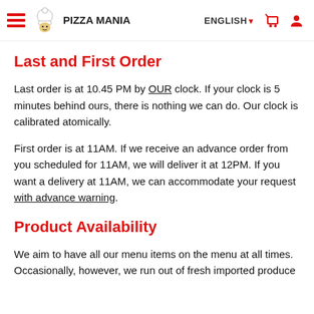PIZZA MANIA | ENGLISH | Cart | User
Last and First Order
Last order is at 10.45 PM by OUR clock. If your clock is 5 minutes behind ours, there is nothing we can do. Our clock is calibrated atomically.
First order is at 11AM. If we receive an advance order from you scheduled for 11AM, we will deliver it at 12PM. If you want a delivery at 11AM, we can accommodate your request with advance warning.
Product Availability
We aim to have all our menu items on the menu at all times. Occasionally, however, we run out of fresh imported produce